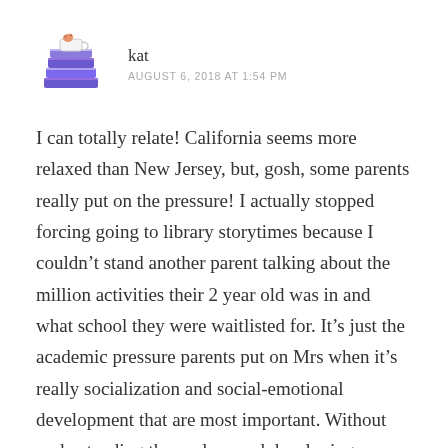[Figure (illustration): Stack of books with a bird on top, purple/blue colored illustration — avatar for user 'kat']
kat
AUGUST 6, 2018 AT 1:54 PM
I can totally relate! California seems more relaxed than New Jersey, but, gosh, some parents really put on the pressure! I actually stopped forcing going to library storytimes because I couldn't stand another parent talking about the million activities their 2 year old was in and what school they were waitlisted for. It's just the academic pressure parents put on Mrs when it's really socialization and social-emotional development that are most important. Without understanding themselves and developing confidence in who they are, I read children will